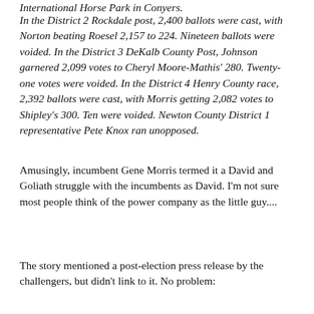International Horse Park in Conyers.
In the District 2 Rockdale post, 2,400 ballots were cast, with Norton beating Roesel 2,157 to 224. Nineteen ballots were voided. In the District 3 DeKalb County Post, Johnson garnered 2,099 votes to Cheryl Moore-Mathis' 280. Twenty-one votes were voided. In the District 4 Henry County race, 2,392 ballots were cast, with Morris getting 2,082 votes to Shipley's 300. Ten were voided. Newton County District 1 representative Pete Knox ran unopposed.
Amusingly, incumbent Gene Morris termed it a David and Goliath struggle with the incumbents as David. I'm not sure most people think of the power company as the little guy....
The story mentioned a post-election press release by the challengers, but didn't link to it. No problem: